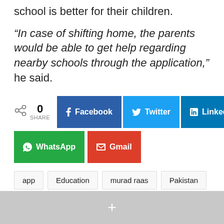school is better for their children.
“In case of shifting home, the parents would be able to get help regarding nearby schools through the application,” he said.
[Figure (infographic): Social share buttons row: share icon, 0 SHARE count, Facebook button, Twitter button, LinkedIn button; second row: WhatsApp button, Gmail button]
app
Education
murad raas
Pakistan
Pakistan news
pakistan technology
punjab education minister
smartphone apps
+